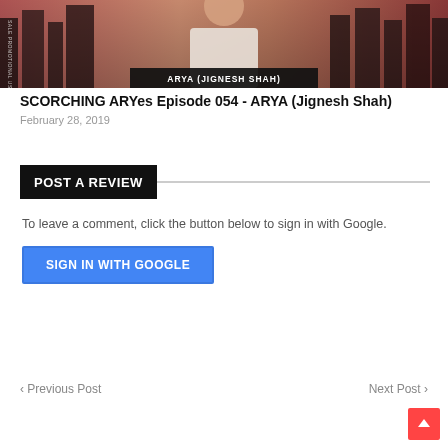[Figure (photo): Promotional photo of ARYA (Jignesh Shah) – man in white t-shirt with cityscape background, text overlay 'ARYA (JIGNESH SHAH)']
SCORCHING ARYes Episode 054 - ARYA (Jignesh Shah)
February 28, 2019
POST A REVIEW
To leave a comment, click the button below to sign in with Google.
SIGN IN WITH GOOGLE
‹ Previous Post    Next Post ›